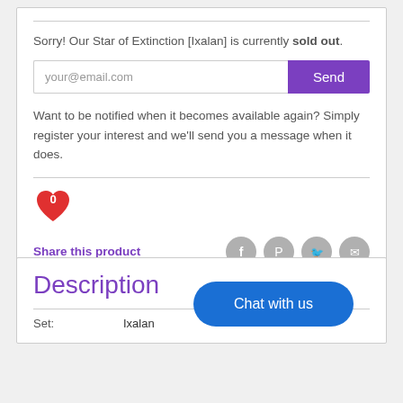Sorry! Our Star of Extinction [Ixalan] is currently sold out.
your@email.com
Want to be notified when it becomes available again? Simply register your interest and we'll send you a message when it does.
[Figure (illustration): Heart icon with count 0]
Share this product
[Figure (illustration): Social share icons: Facebook, Pinterest, Twitter, Email]
Description
Chat with us
Set: Ixalan